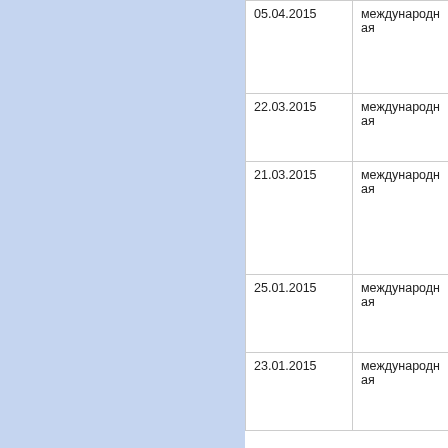| Дата | Тип |  |
| --- | --- | --- |
| 05.04.2015 | международная | н... |
| 22.03.2015 | международная | н... |
| 21.03.2015 | международная | н... |
| 25.01.2015 | международная | н... |
| 23.01.2015 | международная | н... |